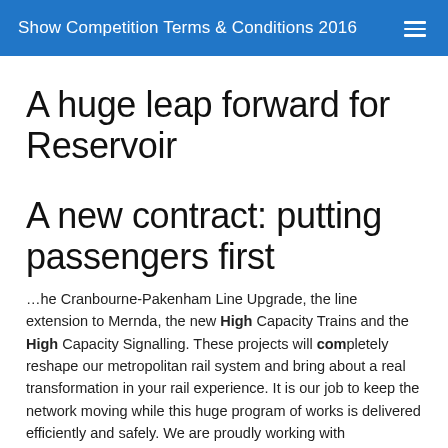Show Competition Terms & Conditions 2016
A huge leap forward for Reservoir
A new contract: putting passengers first
…he Cranbourne-Pakenham Line Upgrade, the line extension to Mernda, the new High Capacity Trains and the High Capacity Signalling. These projects will completely reshape our metropolitan rail system and bring about a real transformation in your rail experience. It is our job to keep the network moving while this huge program of works is delivered efficiently and safely. We are proudly working with